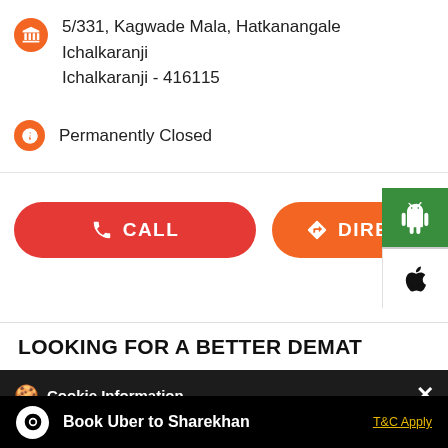5/331, Kagwade Mala, Hatkanangale
Ichalkaranji
Ichalkaranji - 416115
Permanently Closed
[Figure (screenshot): CALL button (red) and DIRECTIONS button (orange) with Android and Apple app store icons on the right sidebar]
LOOKING FOR A BETTER DEMAT
This location is closed. Please visit Nearby Locations
Cookie Information
On our website, we use services (including from third-party providers) that help us to improve our online presence (optimization of website) and to display content that is geared to their interests. We need your consent before being able to use these services.
Book Uber to Sharekhan
T&C Apply